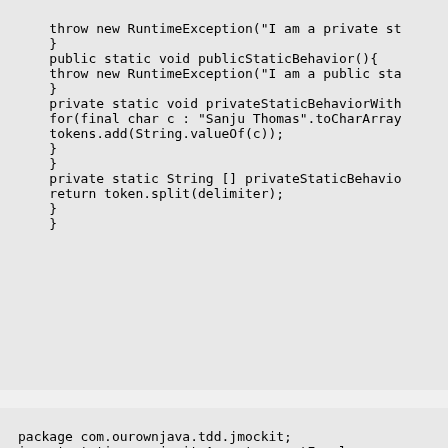throw new RuntimeException("I am a private st
}
public static void publicStaticBehavior(){
throw new RuntimeException("I am a public sta
}
private static void privateStaticBehaviorWith
for(final char c : "Sanju Thomas".toCharArray
tokens.add(String.valueOf(c));
}
}
private static String [] privateStaticBehavio
return token.split(delimiter);
}
}
package com.ourownjava.tdd.jmockit;
import static org.junit.Assert.assertEquals;